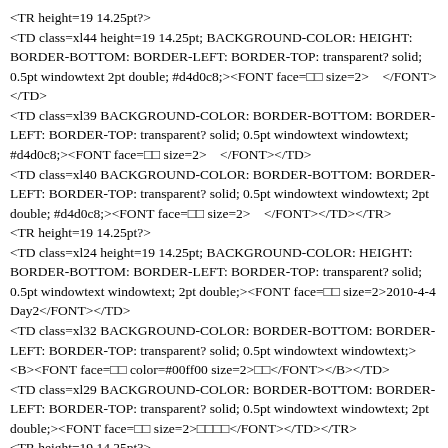<TR height=19 14.25pt?>
<TD class=xl44 height=19 14.25pt; BACKGROUND-COLOR: HEIGHT: BORDER-BOTTOM: BORDER-LEFT: BORDER-TOP: transparent? solid; 0.5pt windowtext 2pt double; #d4d0c8;><FONT face=□□ size=2>    </FONT></TD>
<TD class=xl39 BACKGROUND-COLOR: BORDER-BOTTOM: BORDER-LEFT: BORDER-TOP: transparent? solid; 0.5pt windowtext windowtext; #d4d0c8;><FONT face=□□ size=2>    </FONT></TD>
<TD class=xl40 BACKGROUND-COLOR: BORDER-BOTTOM: BORDER-LEFT: BORDER-TOP: transparent? solid; 0.5pt windowtext windowtext; 2pt double; #d4d0c8;><FONT face=□□ size=2>    </FONT></TD></TR>
<TR height=19 14.25pt?>
<TD class=xl24 height=19 14.25pt; BACKGROUND-COLOR: HEIGHT: BORDER-BOTTOM: BORDER-LEFT: BORDER-TOP: transparent? solid; 0.5pt windowtext windowtext; 2pt double;><FONT face=□□ size=2>2010-4-4 Day2</FONT></TD>
<TD class=xl32 BACKGROUND-COLOR: BORDER-BOTTOM: BORDER-LEFT: BORDER-TOP: transparent? solid; 0.5pt windowtext windowtext;><B><FONT face=□□ color=#00ff00 size=2>□□</FONT></B></TD>
<TD class=xl29 BACKGROUND-COLOR: BORDER-BOTTOM: BORDER-LEFT: BORDER-TOP: transparent? solid; 0.5pt windowtext windowtext; 2pt double;><FONT face=□□ size=2>□□□□</FONT></TD></TR>
<TR height=19 14.25pt?>
<TD class=xl24 height=19 14.25pt; BACKGROUND-COLOR: HEIGHT: BORDER-BOTTOM: BORDER-LEFT: BORDER-TOP: transparent? solid; 0.5pt windowtext windowtext; 2pt double;><FONT face=□□ size=2>2010-4-4 Day2</FONT></TD>
<TD class=xl39 BACKGROUND-COLOR: BORDER-BOTTOM: BORDER-LEFT: BORDER-TOP: transparent? solid; 0.5pt windowtext windowtext; #d4d0c8;><FONT face=□□ size=2>□□□□</FONT></TD>
<TD class=xl40 BACKGROUND-COLOR: BORDER-BOTTOM: BORDER-LEFT: BORDER-TOP: transparent? solid; 0.5pt windowtext windowtext; 2pt double; #d4d0c8;><FONT face=□□ size=2>□□□□+□□□□</FONT></TD></TR>